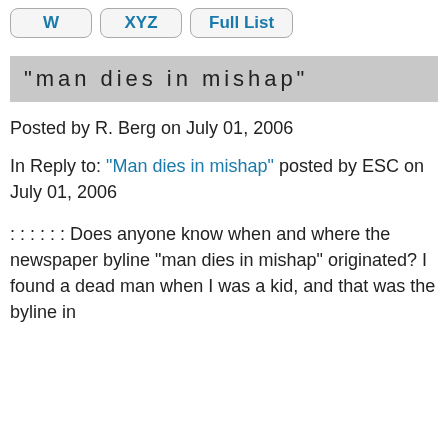W
XYZ
Full List
"man dies in mishap"
Posted by R. Berg on July 01, 2006
In Reply to: "Man dies in mishap" posted by ESC on July 01, 2006
: : : : : : Does anyone know when and where the newspaper byline "man dies in mishap" originated? I found a dead man when I was a kid, and that was the byline in